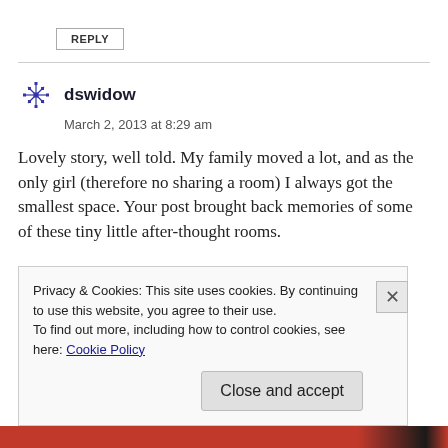REPLY
dswidow
March 2, 2013 at 8:29 am
Lovely story, well told. My family moved a lot, and as the only girl (therefore no sharing a room) I always got the smallest space. Your post brought back memories of some of these tiny little after-thought rooms.
Privacy & Cookies: This site uses cookies. By continuing to use this website, you agree to their use.
To find out more, including how to control cookies, see here: Cookie Policy
Close and accept